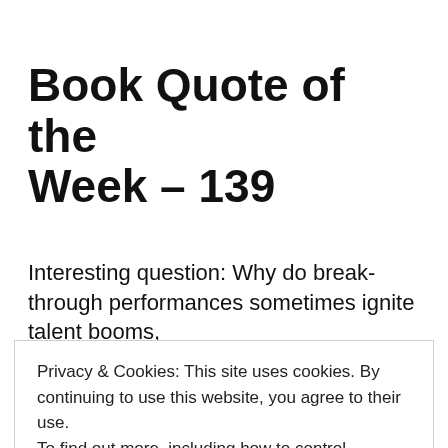Book Quote of the Week – 139
Interesting question: Why do break-through performances sometimes ignite talent booms,
Privacy & Cookies: This site uses cookies. By continuing to use this website, you agree to their use.
To find out more, including how to control cookies, see here: Cookie Policy
Close and accept
D. Jeff Heggie   June 18, 2019